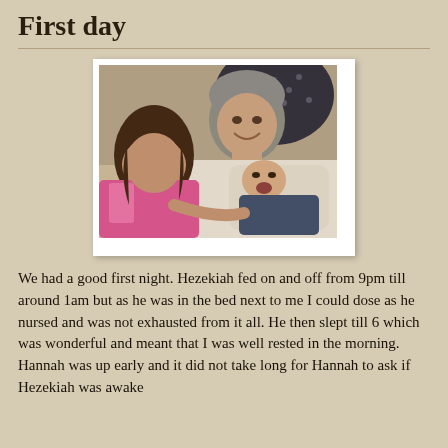First day
[Figure (photo): A woman with short grey hair smiling down at a newborn baby, with a young girl in a pink outfit looking at the baby. Hospital/home setting.]
We had a good first night. Hezekiah fed on and off from 9pm till around 1am but as he was in the bed next to me I could dose as he nursed and was not exhausted from it all. He then slept till 6 which was wonderful and meant that I was well rested in the morning. Hannah was up early and it did not take long for Hannah to ask if Hezekiah was awake